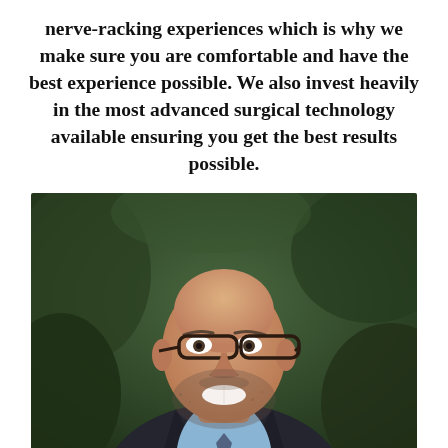nerve-racking experiences which is why we make sure you are comfortable and have the best experience possible. We also invest heavily in the most advanced surgical technology available ensuring you get the best results possible.
[Figure (photo): Professional headshot of a bald man with glasses, gray stubble beard, wearing a dark suit and light blue shirt, smiling, with green foliage in the background.]